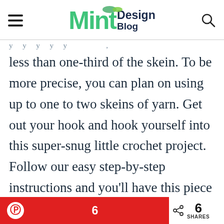Mint Design Blog
less than one-third of the skein. To be more precise, you can plan on using up to one to two skeins of yarn. Get out your hook and hook yourself into this super-snug little crochet project. Follow our easy step-by-step instructions and you'll have this piece on its way in no time. The tutorial
6 SHARES